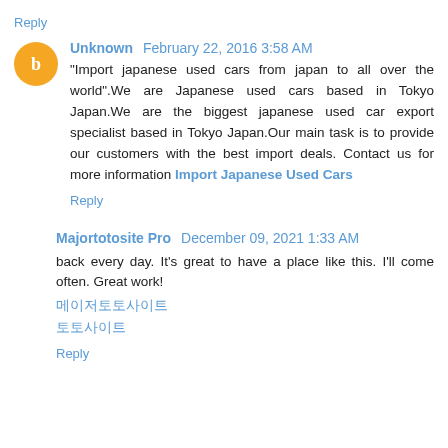Reply
Unknown  February 22, 2016 3:58 AM
"Import japanese used cars from japan to all over the world".We are Japanese used cars based in Tokyo Japan.We are the biggest japanese used car export specialist based in Tokyo Japan.Our main task is to provide our customers with the best import deals. Contact us for more information Import Japanese Used Cars
Reply
Majortotosite Pro  December 09, 2021 1:33 AM
back every day. It's great to have a place like this. I'll come often. Great work!
메이저토토사이트
토토사이트
Reply